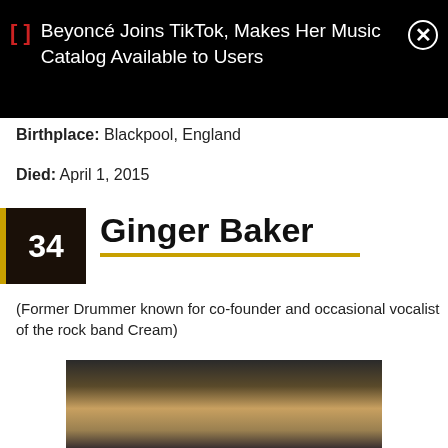[Figure (screenshot): Black notification banner with red bracket icon, white text reading 'Beyoncé Joins TikTok, Makes Her Music Catalog Available to Users', and a circled X close button]
Birthplace: Blackpool, England
Died: April 1, 2015
34   Ginger Baker
(Former Drummer known for co-founder and occasional vocalist of the rock band Cream)
[Figure (photo): Photo of Ginger Baker, showing top of head with blonde/grey hair, partial face visible, dark background]
Celebrities Born On My Birthday?   Enter Your DOB   GO